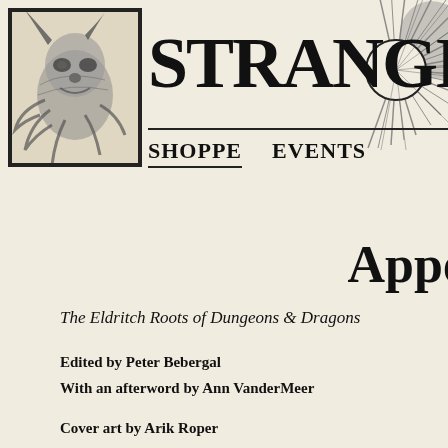[Figure (illustration): Black and white illustration of a creature/monster with horns and tentacles, enclosed in a rectangular border]
STRANGE A
[Figure (illustration): Black and white starburst/sunburst decorative illustration with a circular center, overlapping the title text]
SHOPPE   EVENTS
Appe
The Eldritch Roots of Dungeons & Dragons
Edited by Peter Bebergal
With an afterword by Ann VanderMeer
Cover art by Arik Roper